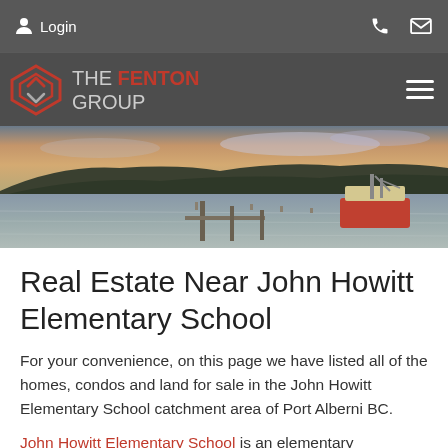Login | Phone | Mail
[Figure (logo): The Fenton Group real estate logo with diamond/chevron icon and hamburger menu]
[Figure (photo): Panoramic waterfront photo of Port Alberni BC showing a dock, boat, and hillside at sunset]
Real Estate Near John Howitt Elementary School
For your convenience, on this page we have listed all of the homes, condos and land for sale in the John Howitt Elementary School catchment area of Port Alberni BC.
John Howitt Elementary School is an elementary